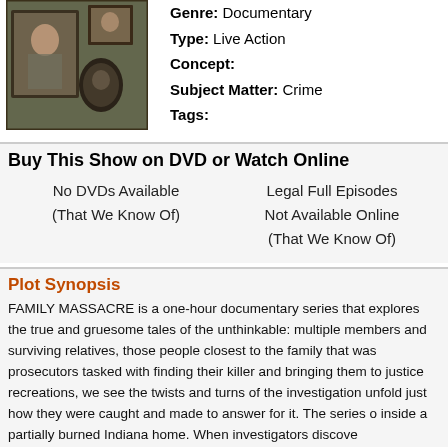[Figure (photo): A dark, moody photograph showing framed portraits on a wall in a dimly lit room with greenish-brown tones.]
Genre: Documentary
Type: Live Action
Concept:
Subject Matter: Crime
Tags:
Buy This Show on DVD or Watch Online
No DVDs Available
(That We Know Of)
Legal Full Episodes
Not Available Online
(That We Know Of)
Plot Synopsis
FAMILY MASSACRE is a one-hour documentary series that explores the true and gruesome tales of the unthinkable: multiple members and surviving relatives, those people closest to the family that was prosecutors tasked with finding their killer and bringing them to just recreations, we see the twists and turns of the investigation unfold just how they were caught and made to answer for it. The series o inside a partially burned Indiana home. When investigators discov